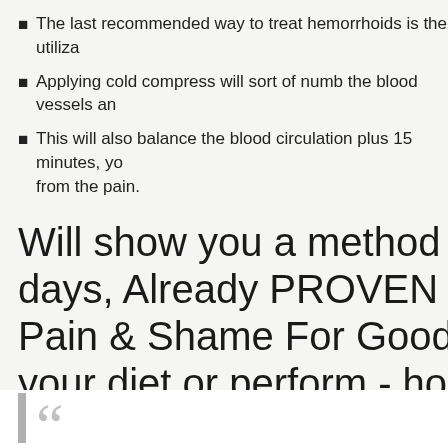The last recommended way to treat hemorrhoids is the utiliza...
Applying cold compress will sort of numb the blood vessels an...
This will also balance the blood circulation plus 15 minutes, yo... from the pain.
Will show you a method Cures Hemorrho... days, Already PROVEN By Thousands T... Pain & Shame For Good ..."Are you sick... your diet or perform - hoping for relief? P... "management" burdens of this on your e... Here For Hemorrhoid Treatment Natural...